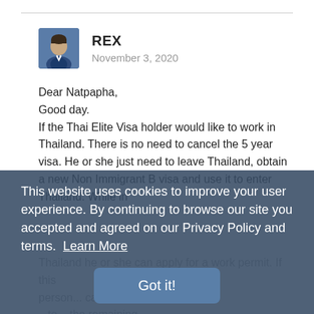REX
November 3, 2020
Dear Natpapha,
Good day.
If the Thai Elite Visa holder would like to work in Thailand. There is no need to cancel the 5 year visa. He or she just need to leave Thailand, obtain a new Non Immigrant B visa and use it to enter Thailand. While in Thailand he or she can apply for a work permit. If this person...can leave...the remaining...
This website uses cookies to improve your user experience. By continuing to browse our site you accepted and agreed on our Privacy Policy and terms.  Learn More
Got it!